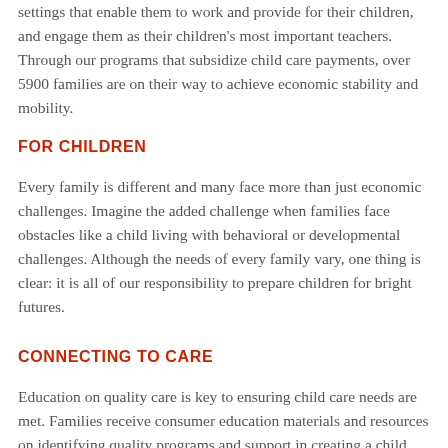settings that enable them to work and provide for their children, and engage them as their children's most important teachers. Through our programs that subsidize child care payments, over 5900 families are on their way to achieve economic stability and mobility.
FOR CHILDREN
Every family is different and many face more than just economic challenges. Imagine the added challenge when families face obstacles like a child living with behavioral or developmental challenges. Although the needs of every family vary, one thing is clear: it is all of our responsibility to prepare children for bright futures.
CONNECTING TO CARE
Education on quality care is key to ensuring child care needs are met. Families receive consumer education materials and resources on identifying quality programs and support in creating a child care